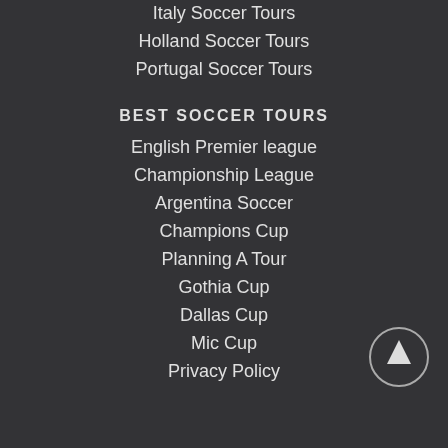Italy Soccer Tours
Holland Soccer Tours
Portugal Soccer Tours
BEST SOCCER TOURS
English Premier league
Championship League
Argentina Soccer
Champions Cup
Planning A Tour
Gothia Cup
Dallas Cup
Mic Cup
Privacy Policy
[Figure (illustration): Back to top arrow button - circular icon with upward arrow]